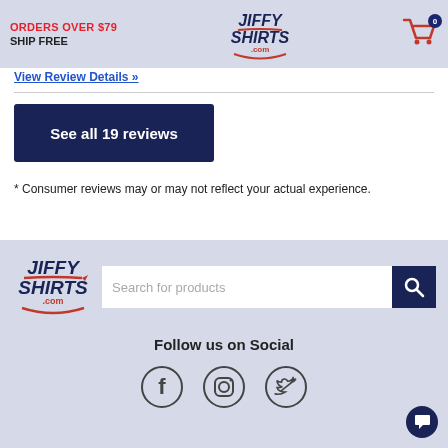ORDERS OVER $79 SHIP FREE | JiffyShirts.com | Cart 0
View Review Details »
See all 19 reviews
* Consumer reviews may or may not reflect your actual experience.
[Figure (logo): JiffyShirts.com logo with red arrow swoosh in footer]
Search for products
Follow us on Social
[Figure (illustration): Social media icons: Facebook, Instagram, Twitter circles]